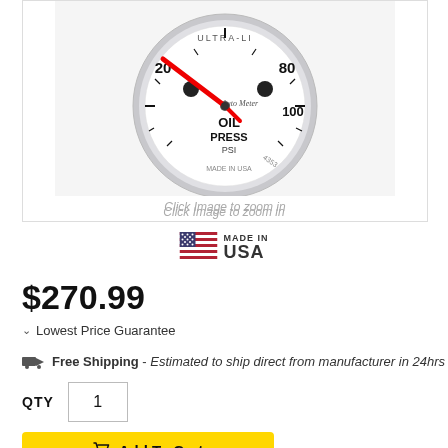[Figure (photo): Auto Meter Ultra-Lite oil pressure gauge (0-100 PSI) with white face, red needle, and chrome bezel. The gauge face reads 'OIL PRESS PSI' and 'MADE IN USA' with scale markings 20, 80, 100.]
Click Image to zoom in
[Figure (logo): Made in USA flag badge with American flag icon and 'MADE IN USA' text]
$270.99
Lowest Price Guarantee
Free Shipping - Estimated to ship direct from manufacturer in 24hrs
QTY 1
Add To Cart